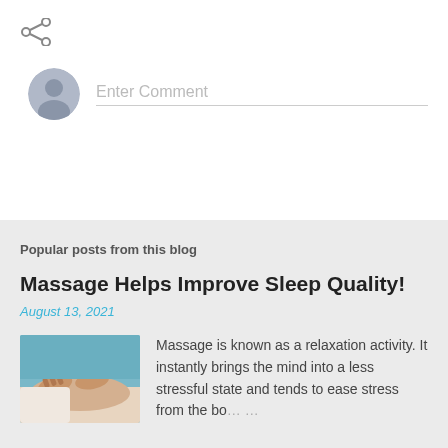[Figure (other): Share icon (network/share symbol) in gray]
Enter Comment
Popular posts from this blog
Massage Helps Improve Sleep Quality!
August 13, 2021
[Figure (photo): Photo of a massage therapy session showing hands massaging a person's back]
Massage is known as a relaxation activity. It instantly brings the mind into a less stressful state and tends to ease stress from the bo…